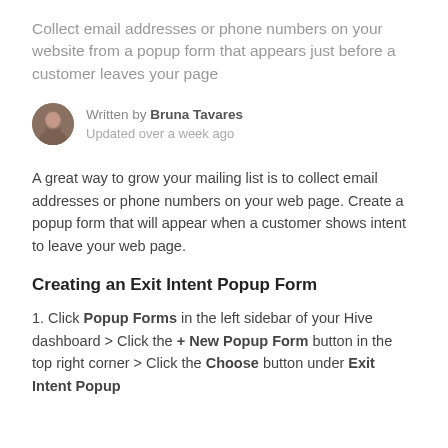Collect email addresses or phone numbers on your website from a popup form that appears just before a customer leaves your page
Written by Bruna Tavares
Updated over a week ago
A great way to grow your mailing list is to collect email addresses or phone numbers on your web page. Create a popup form that will appear when a customer shows intent to leave your web page.
Creating an Exit Intent Popup Form
1. Click Popup Forms in the left sidebar of your Hive dashboard > Click the + New Popup Form button in the top right corner > Click the Choose button under Exit Intent Popup